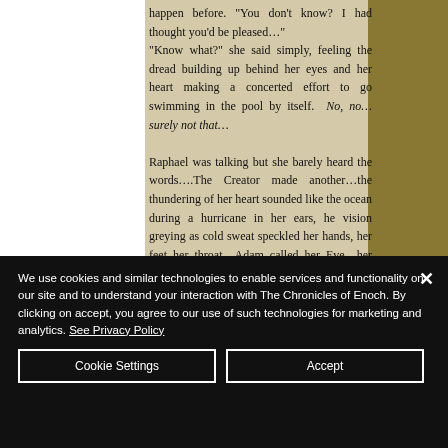happen before. "You don't know? I had thought you'd be pleased…" "Know what?" she said simply, feeling the dread building up behind her eyes and her heart making a concerted effort to go swimming in the pool by itself. No, no…surely not that… Raphael was talking but she barely heard the words….The Creator made another…the thundering of her heart sounded like the ocean during a hurricane in her ears, he vision greying as cold sweat speckled her hands, her feet her throat…Adam called her Eve…her stomach went
We use cookies and similar technologies to enable services and functionality on our site and to understand your interaction with The Chronicles of Enoch. By clicking on accept, you agree to our use of such technologies for marketing and analytics. See Privacy Policy